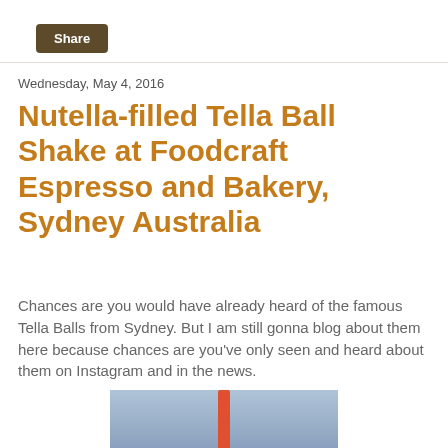Share
Wednesday, May 4, 2016
Nutella-filled Tella Ball Shake at Foodcraft Espresso and Bakery, Sydney Australia
Chances are you would have already heard of the famous Tella Balls from Sydney. But I am still gonna blog about them here because chances are you've only seen and heard about them on Instagram and in the news.
[Figure (photo): A Tella Ball shake with a red straw, showing a large round sugary donut/ball on a brick ledge, with a bakery display case in the background.]